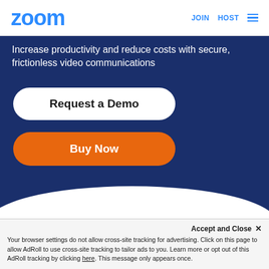zoom JOIN HOST ≡
Increase productivity and reduce costs with secure, frictionless video communications
Request a Demo
Buy Now
Transform your
Accept and Close ×
Your browser settings do not allow cross-site tracking for advertising. Click on this page to allow AdRoll to use cross-site tracking to tailor ads to you. Learn more or opt out of this AdRoll tracking by clicking here. This message only appears once.